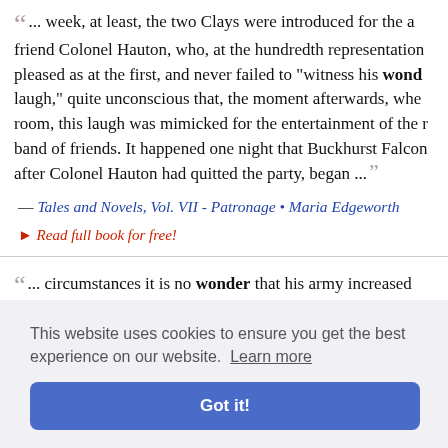... week, at least, the two Clays were introduced for the a friend Colonel Hauton, who, at the hundredth representation pleased as at the first, and never failed to "witness his wond laugh," quite unconscious that, the moment afterwards, whe room, this laugh was mimicked for the entertainment of the r band of friends. It happened one night that Buckhurst Falco after Colonel Hauton had quitted the party, began ...
— Tales and Novels, Vol. VII - Patronage • Maria Edgeworth
Read full book for free!
... circumstances it is no wonder that his army increased exclusive of individual recruits, he was here strengthened b the midst o importance t
es the Sec
This website uses cookies to ensure you get the best experience on our website. Learn more
Got it!